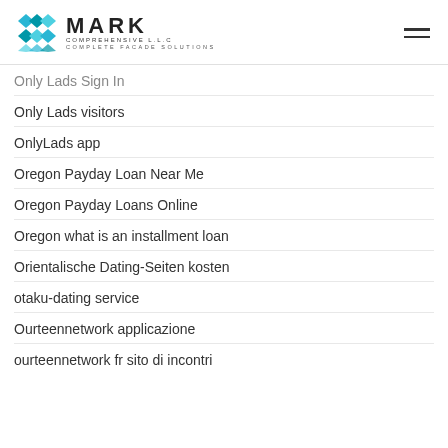MARK COMPREHENSIVE L.L.C — COMPLETE FACADE SOLUTIONS
Only Lads Sign In
Only Lads visitors
OnlyLads app
Oregon Payday Loan Near Me
Oregon Payday Loans Online
Oregon what is an installment loan
Orientalische Dating-Seiten kosten
otaku-dating service
Ourteennetwork applicazione
ourteennetwork fr sito di incontri